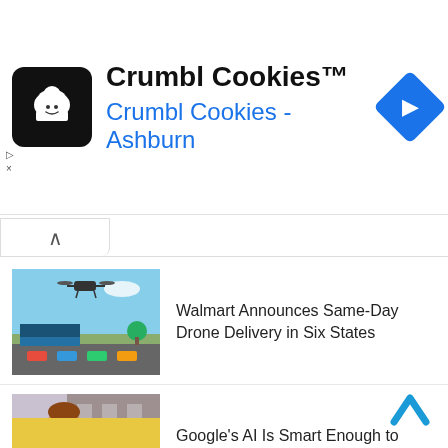[Figure (screenshot): Crumbl Cookies ad banner with logo, brand name, and navigation icon. Text: 'Crumbl Cookies™' and 'Crumbl Cookies - Ashburn'. Ad indicator with triangle and X icons top-left.]
Walmart Announces Same-Day Drone Delivery in Six States
Google's AI Is Smart Enough to Understand Your Humor
AI Traffic Light System Could Make Traffic Jams a Distant Memory